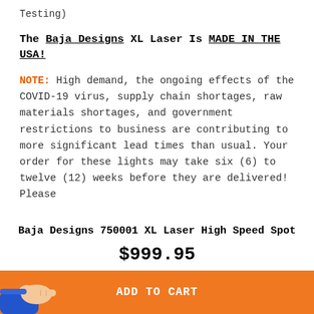Testing)
The Baja Designs XL Laser Is MADE IN THE USA!
NOTE: High demand, the ongoing effects of the COVID-19 virus, supply chain shortages, raw materials shortages, and government restrictions to business are contributing to more significant lead times than usual. Your order for these lights may take six (6) to twelve (12) weeks before they are delivered! Please
Baja Designs 750001 XL Laser High Speed Spot
$999.95
ADD TO CART